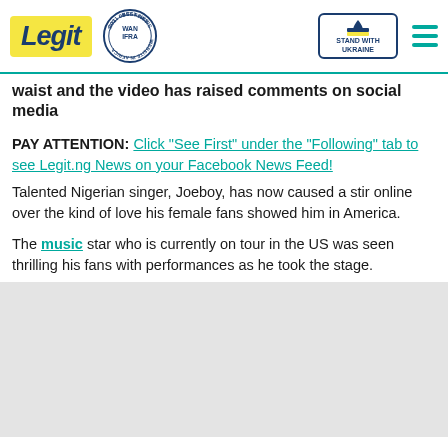Legit | WAN IFRA 2021 Best News Website in Africa | Stand with Ukraine
Joeboy praised the adoration and hung it on his waist and the video has raised comments on social media
PAY ATTENTION: Click "See First" under the "Following" tab to see Legit.ng News on your Facebook News Feed!
Talented Nigerian singer, Joeboy, has now caused a stir online over the kind of love his female fans showed him in America.
The music star who is currently on tour in the US was seen thrilling his fans with performances as he took the stage.
[Figure (other): Gray placeholder area at the bottom of the page]